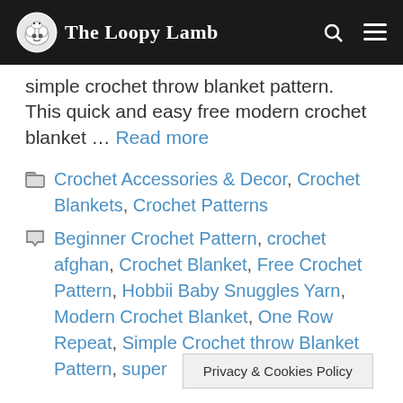The Loopy Lamb
simple crochet throw blanket pattern. This quick and easy free modern crochet blanket … Read more
Categories: Crochet Accessories & Decor, Crochet Blankets, Crochet Patterns
Tags: Beginner Crochet Pattern, crochet afghan, Crochet Blanket, Free Crochet Pattern, Hobbii Baby Snuggles Yarn, Modern Crochet Blanket, One Row Repeat, Simple Crochet throw Blanket Pattern, super [Yarn]
Privacy & Cookies Policy